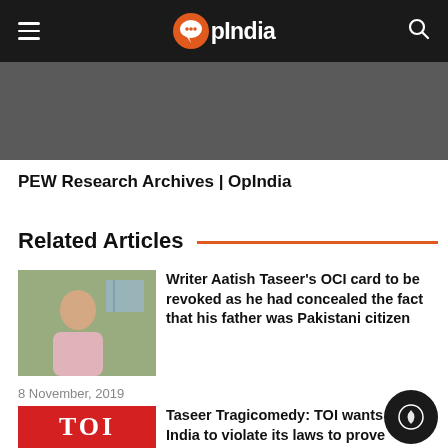OpIndia
[Figure (photo): Dark gray background image area]
PEW Research Archives | OpIndia
Related Articles
[Figure (photo): Thumbnail photo of a man in a pink shirt]
Writer Aatish Taseer's OCI card to be revoked as he had concealed the fact that his father was Pakistani citizen
8 November, 2019
[Figure (logo): TOI (Times of India) red logo]
Taseer Tragicomedy: TOI wants India to violate its laws to prove that it is committed to democratic values